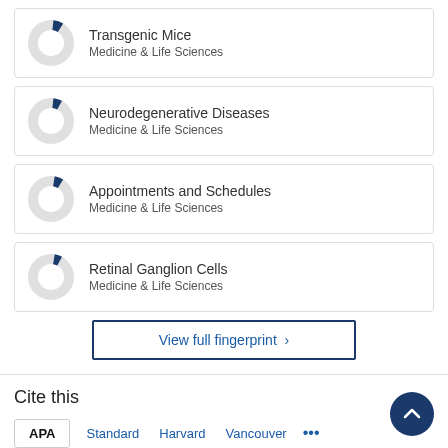Transgenic Mice — Medicine & Life Sciences
Neurodegenerative Diseases — Medicine & Life Sciences
Appointments and Schedules — Medicine & Life Sciences
Retinal Ganglion Cells — Medicine & Life Sciences
View full fingerprint
Cite this
APA  Standard  Harvard  Vancouver  ...